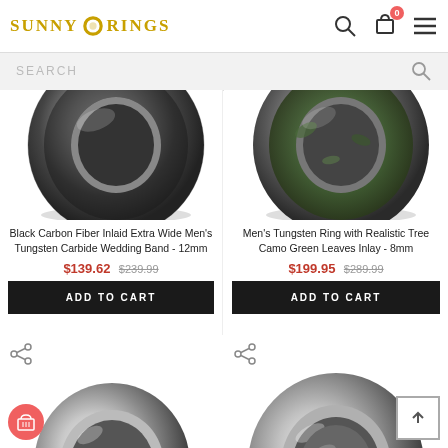SUNNY RINGS
SEARCH
[Figure (photo): Black Carbon Fiber Inlaid Tungsten ring shown from top angle, partially cropped]
Black Carbon Fiber Inlaid Extra Wide Men's Tungsten Carbide Wedding Band - 12mm
$139.62 $239.99
ADD TO CART
[Figure (photo): Men's Tungsten Ring with Tree Camo Green Leaves Inlay, shown from top angle, partially cropped]
Men's Tungsten Ring with Realistic Tree Camo Green Leaves Inlay - 8mm
$199.95 $289.99
ADD TO CART
[Figure (photo): Polished silver tungsten ring with Thorsten branding, bottom half visible]
[Figure (photo): Polished silver wide tungsten ring, bottom half visible]